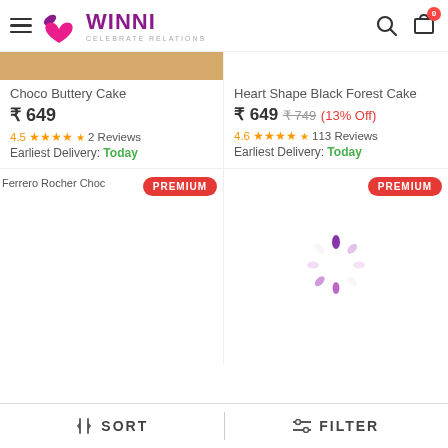Winni - Celebrate Relations
Choco Buttery Cake
₹ 649
4.5★★★★★ 2 Reviews
Earliest Delivery: Today
Heart Shape Black Forest Cake
₹ 649 ₹ 749 (13% Off)
4.6★★★★★ 113 Reviews
Earliest Delivery: Today
[Figure (photo): Product listing image area - Ferrero Rocher Choc with PREMIUM badge]
[Figure (photo): Loading spinner with PREMIUM badge]
SORT | FILTER